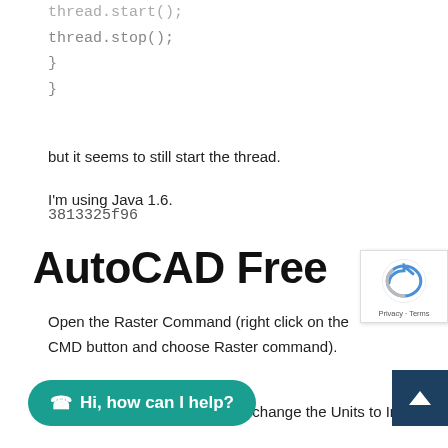thread.start();
thread.stop();
}
}
but it seems to still start the thread.
I'm using Java 1.6.
3813325f96
AutoCAD Free
Open the Raster Command (right click on the CMD button and choose Raster command).
choose a Unit of Measure and change the Units to Inches.